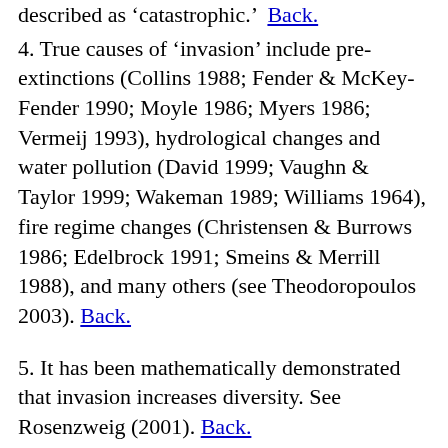described as 'catastrophic.' Back.
4. True causes of 'invasion' include pre-extinctions (Collins 1988; Fender & McKey-Fender 1990; Moyle 1986; Myers 1986; Vermeij 1993), hydrological changes and water pollution (David 1999; Vaughn & Taylor 1999; Wakeman 1989; Williams 1964), fire regime changes (Christensen & Burrows 1986; Edelbrock 1991; Smeins & Merrill 1988), and many others (see Theodoropoulos 2003). Back.
5. It has been mathematically demonstrated that invasion increases diversity. See Rosenzweig (2001). Back.